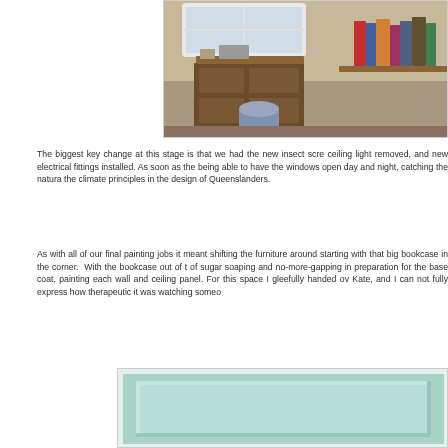[Figure (photo): Interior room photo showing a wooden dresser/desk with books and items on top, a bucket on the floor, and a window above it.]
The biggest key change at this stage is that we had the new insect scre ceiling light removed, and new electrical fittings installed. As soon as the being able to have the windows open day and night, catching the natura the climate principles in the design of Queenslanders.
As with all of our final painting jobs it meant shifting the furniture around starting with that big bookcase in the corner.  With the bookcase out of t of sugar soaping and no-more-gapping in preparation for the base coat, painting each wall and ceiling panel. For this space I gleefully handed ov Kate, and I can not fully express how therapeutic it was watching someo
[Figure (photo): Close-up photo of a painted wall panel or door panel in a light mint/turquoise green color with white trim border.]